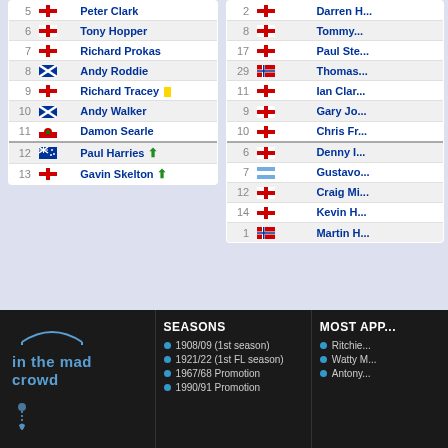| # | Flag | Name |
| --- | --- | --- |
| 5 | England | Peter Clark |
| 6 | England | Tony Hopper |
| 7 | England | Richard Prokas |
| 8 | Scotland | Andy Roddie |
| 9 | England | Richard Tracey [yellow card] |
| 10 | Scotland | Andy Walker |
| 11 | Wales | Damon Searle |
| 12 | Australia | Paul Harries ↑ |
| 13 | England | Gavin Skelton ↑ |
| # | Flag | Name |
| --- | --- | --- |
| 2 | England | Darren H... |
| 8 | England | Tommy... |
| 17 | England | Paul Ste... |
| 29 | Norway | Thomas... |
| 11 | England | Ian Clar... |
| 9 | England | Gary Jo... |
| 10 | England | Chris Fr... |
| 6 | England | Denny I... |
| 7 | Argentina | Gustavo... |
| 12 | England | Craig Mi... |
| 14 | England | Kevin H... |
| 1 | Norway | Martin H... |
in the mad crowd
SEASONS
1908/09 (1st season)
1921/22 (1st FL season)
1967/68 Promotion
1990/91 Promotion
MOST APP...
Ritchie...
Watty M...
Antony...